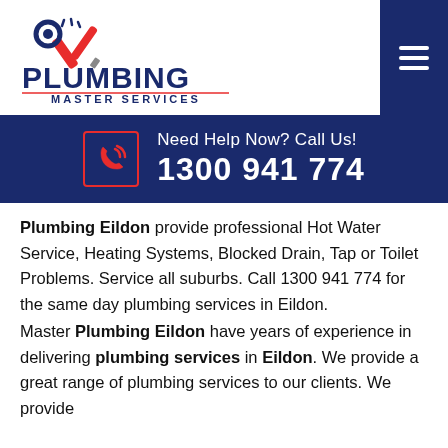[Figure (logo): Plumbing Master Services logo with wrench and screwdriver icon and bold text]
Need Help Now? Call Us!
1300 941 774
Plumbing Eildon provide professional Hot Water Service, Heating Systems, Blocked Drain, Tap or Toilet Problems. Service all suburbs. Call 1300 941 774 for the same day plumbing services in Eildon.
Master Plumbing Eildon have years of experience in delivering plumbing services in Eildon. We provide a great range of plumbing services to our clients. We provide repair and installation services for our clients.